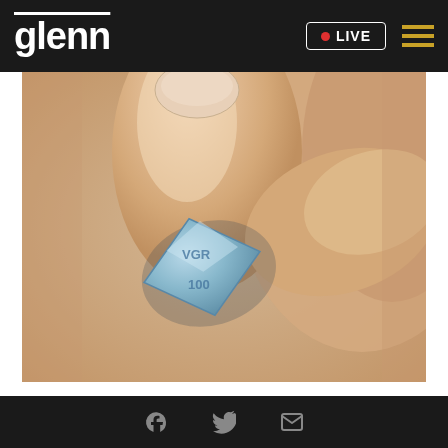glenn • LIVE
[Figure (photo): Close-up photo of fingers holding a small blue diamond-shaped pill (Viagra/sildenafil) with VGR 100 embossed on it]
VIGORNOW
Doctors Stunned: Forget the Blue Pill, This Fixes Your ED
Social share icons: Facebook, Twitter, Email